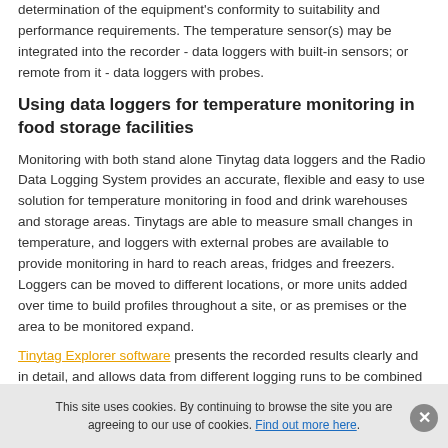determination of the equipment's conformity to suitability and performance requirements. The temperature sensor(s) may be integrated into the recorder - data loggers with built-in sensors; or remote from it - data loggers with probes.
Using data loggers for temperature monitoring in food storage facilities
Monitoring with both stand alone Tinytag data loggers and the Radio Data Logging System provides an accurate, flexible and easy to use solution for temperature monitoring in food and drink warehouses and storage areas. Tinytags are able to measure small changes in temperature, and loggers with external probes are available to provide monitoring in hard to reach areas, fridges and freezers. Loggers can be moved to different locations, or more units added over time to build profiles throughout a site, or as premises or the area to be monitored expand.
Tinytag Explorer software presents the recorded results clearly and in detail, and allows data from different logging runs to be combined for comparison and analysis. Data is presented initially in graphs and tables which can easily be printed, copied and pasted, or exported into popular software packages.
This site uses cookies. By continuing to browse the site you are agreeing to our use of cookies. Find out more here.